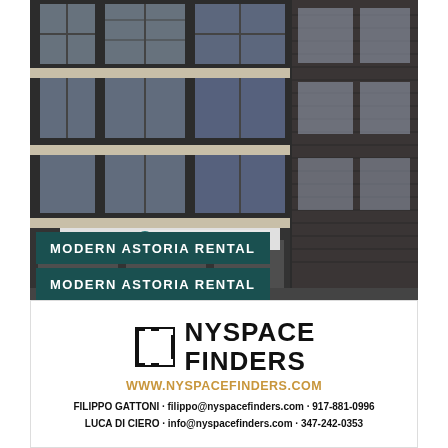[Figure (photo): Exterior photo of a modern multi-story building with dark facade and large windows in Astoria, with a 'Talent Prep' storefront sign visible at street level.]
MODERN ASTORIA RENTAL
[Figure (logo): NYSpace Finders logo with a stylized square bracket/door icon and bold text reading NYSPACE FINDERS]
WWW.NYSPACEFINDERS.COM
FILIPPO GATTONI - filippo@nyspacefinders.com · 917-881-0996
LUCA DI CIERO - info@nyspacefinders.com · 347-242-0353